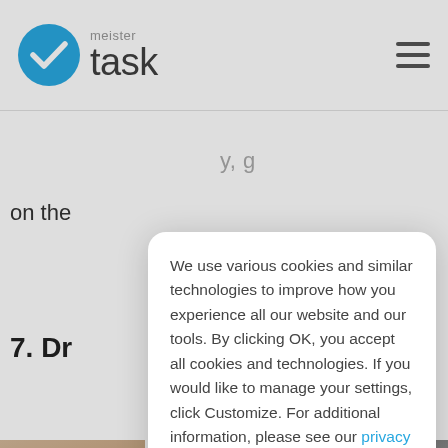meister task
on the
7. Dr
We use various cookies and similar technologies to improve how you experience all our website and our tools. By clicking OK, you accept all cookies and technologies. If you would like to manage your settings, click Customize. For additional information, please see our privacy policy.
Customize  OK